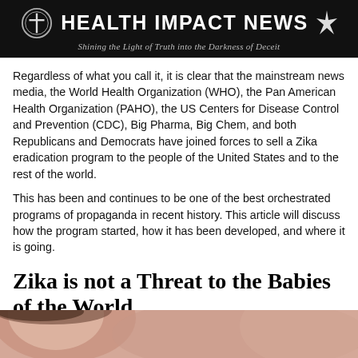[Figure (logo): Health Impact News banner logo with circular cross icon on left, star/sparkle on right, bold white text 'HEALTH IMPACT NEWS', subtitle 'Shining the Light of Truth into the Darkness of Deceit' on black background]
Regardless of what you call it, it is clear that the mainstream news media, the World Health Organization (WHO), the Pan American Health Organization (PAHO), the US Centers for Disease Control and Prevention (CDC), Big Pharma, Big Chem, and both Republicans and Democrats have joined forces to sell a Zika eradication program to the people of the United States and to the rest of the world.
This has been and continues to be one of the best orchestrated programs of propaganda in recent history. This article will discuss how the program started, how it has been developed, and where it is going.
Zika is not a Threat to the Babies of the World
[Figure (photo): Partial photo of a baby's face at bottom of page]